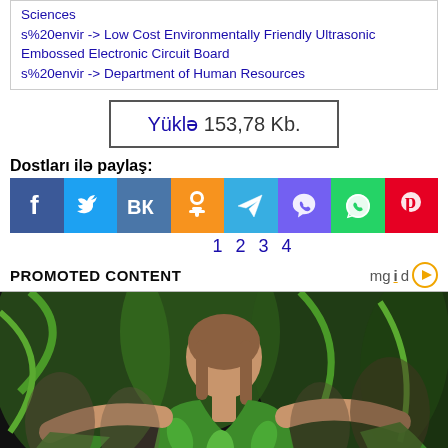Sciences
s%20envir -> Low Cost Environmentally Friendly Ultrasonic Embossed Electronic Circuit Board
s%20envir -> Department of Human Resources
Yüklə 153,78 Kb.
Dostları ilə paylaş:
[Figure (infographic): Social media share buttons: Facebook, Twitter, VK, OK, Telegram, Viber, WhatsApp, Pinterest]
1  2  3  4
PROMOTED CONTENT
[Figure (photo): Woman in green floral dress at what appears to be a fashion event or red carpet]